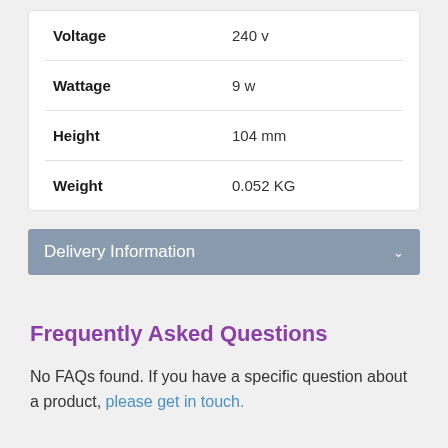| Property | Value |
| --- | --- |
| Voltage | 240 v |
| Wattage | 9 w |
| Height | 104 mm |
| Weight | 0.052 KG |
Delivery Information
Frequently Asked Questions
No FAQs found. If you have a specific question about a product, please get in touch.